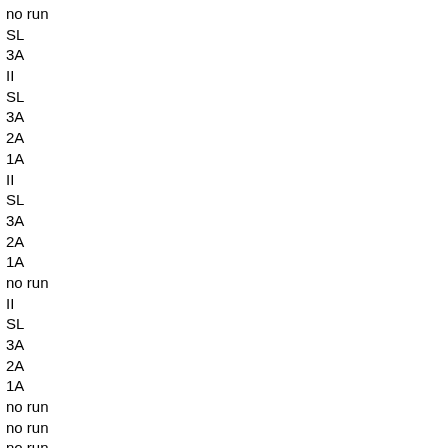no run
SL
3A
II
SL
3A
2A
1A
II
SL
3A
2A
1A
no run
II
SL
3A
2A
1A
no run
no run
no run
no run
no run
no run
no run